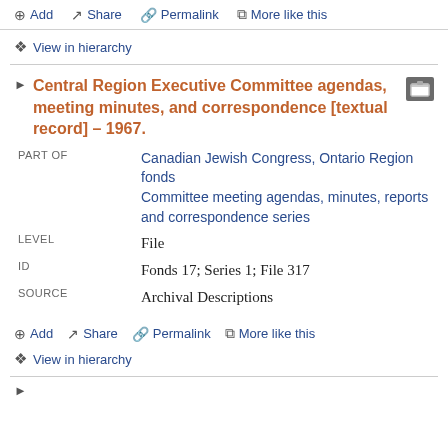Add  Share  Permalink  More like this
View in hierarchy
Central Region Executive Committee agendas, meeting minutes, and correspondence [textual record] – 1967.
| Label | Value |
| --- | --- |
| PART OF | Canadian Jewish Congress, Ontario Region fonds
Committee meeting agendas, minutes, reports and correspondence series |
| LEVEL | File |
| ID | Fonds 17; Series 1; File 317 |
| SOURCE | Archival Descriptions |
Add  Share  Permalink  More like this
View in hierarchy